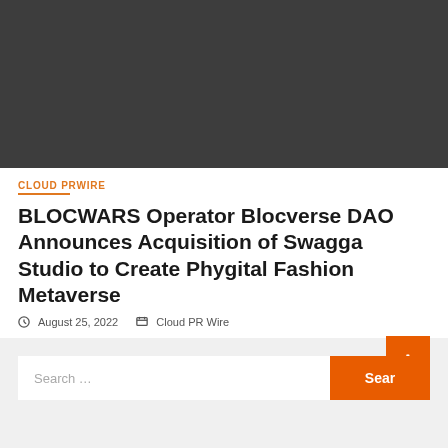[Figure (photo): Dark gray rectangle placeholder image area at top of page]
CLOUD PRWIRE
BLOCWARS Operator Blocverse DAO Announces Acquisition of Swagga Studio to Create Phygital Fashion Metaverse
August 25, 2022   Cloud PR Wire